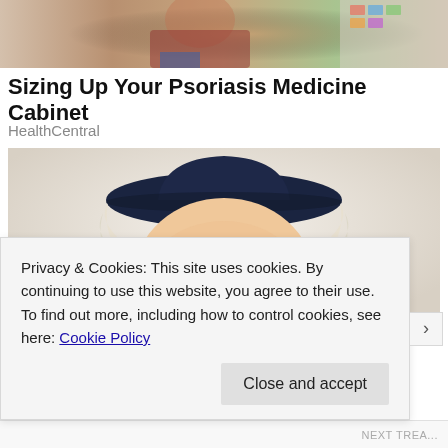[Figure (photo): Cropped photo of a person in plaid shirt near a pharmacy or medicine display, blurred/partial view at top of page]
Sizing Up Your Psoriasis Medicine Cabinet
HealthCentral
[Figure (illustration): Illustrated character with white curly hair wearing a dark cowboy hat, smiling — appears to be a mascot or cartoon figure (possibly Quaker Oats-style)]
Privacy & Cookies: This site uses cookies. By continuing to use this website, you agree to their use.
To find out more, including how to control cookies, see here: Cookie Policy
Close and accept